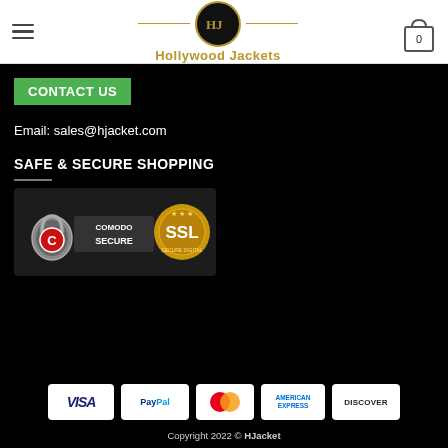Hollywood Jackets
CONTACT US
Email: sales@hjacket.com
SAFE & SECURE SHOPPING
[Figure (logo): Comodo Secure and SSL badge image]
[Figure (infographic): Payment method logos: VISA, PayPal, MasterCard, American Express, Discover]
Copyright 2022 © HJacket